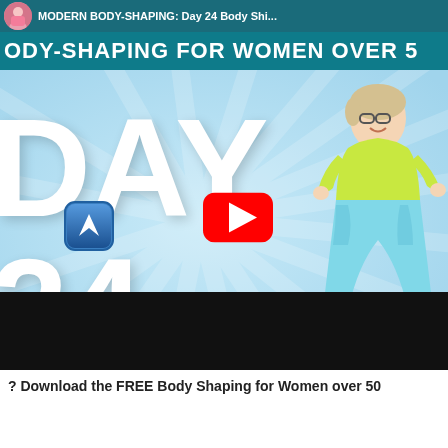[Figure (screenshot): YouTube video thumbnail showing 'BODY-SHAPING FOR WOMEN OVER 50' with DAY 24 text, a YouTube play button, a blue arrow icon, and a woman in fitness wear dancing/exercising. Teal header bar at top. Black bar at bottom of video player.]
? Download the FREE Body Shaping for Women over 50